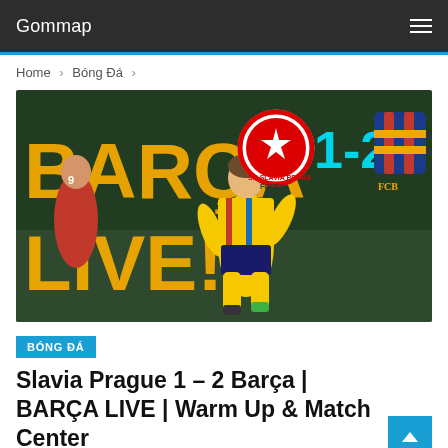Gommap
Home > Bóng Đá >
[Figure (photo): Barcelona FC promotional image showing a player in yellow jersey jumping/celebrating. Large yellow text 'BARÇA LIVE!' overlaid. Slavia Prague vs Barcelona score 1-2 shown with team logos.]
BÓNG ĐÁ
Slavia Prague 1 – 2 Barça | BARÇA LIVE | Warm Up & Match Center